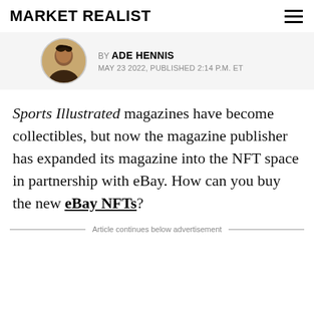MARKET REALIST
BY ADE HENNIS
MAY 23 2022, PUBLISHED 2:14 P.M. ET
Sports Illustrated magazines have become collectibles, but now the magazine publisher has expanded its magazine into the NFT space in partnership with eBay. How can you buy the new eBay NFTs?
Article continues below advertisement